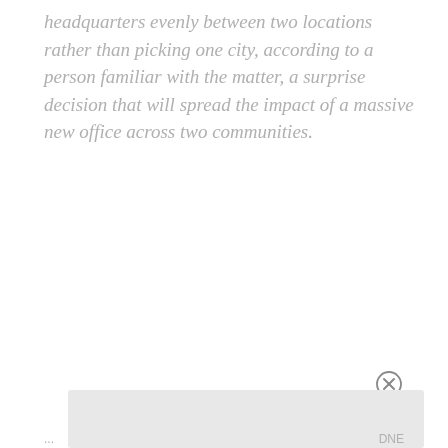headquarters evenly between two locations rather than picking one city, according to a person familiar with the matter, a surprise decision that will spread the impact of a massive new office across two communities.
[Figure (other): Close button (circled X) and a light gray advertisement or UI panel box]
... · DNE